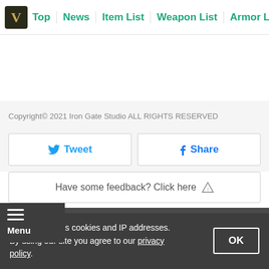Top | News | Item List | Weapon List | Armor List | Fo
Copyright© 2021 Iron Gate Studio ALL RIGHTS RESERVED
Tweet
Share
Have some feedback? Click here ⚠
Reader Comments
Submit
GameWith uses cookies and IP addresses. By using our site you agree to our privacy policy.